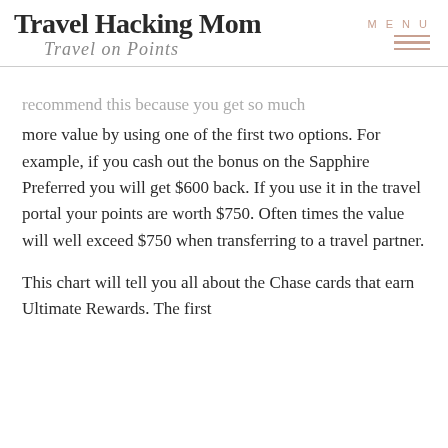Travel Hacking Mom — Travel on Points | MENU
recommend this because you get so much more value by using one of the first two options. For example, if you cash out the bonus on the Sapphire Preferred you will get $600 back. If you use it in the travel portal your points are worth $750. Often times the value will well exceed $750 when transferring to a travel partner.
This chart will tell you all about the Chase cards that earn Ultimate Rewards. The first